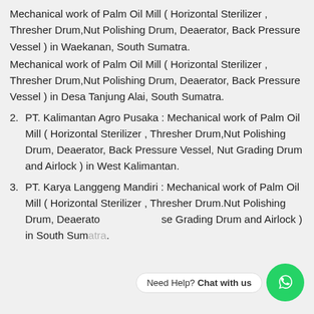Mechanical work of Palm Oil Mill ( Horizontal Sterilizer , Thresher Drum,Nut Polishing Drum, Deaerator, Back Pressure Vessel ) in Waekanan, South Sumatra. Mechanical work of Palm Oil Mill ( Horizontal Sterilizer , Thresher Drum,Nut Polishing Drum, Deaerator, Back Pressure Vessel ) in Desa Tanjung Alai, South Sumatra.
PT. Kalimantan Agro Pusaka : Mechanical work of Palm Oil Mill ( Horizontal Sterilizer , Thresher Drum,Nut Polishing Drum, Deaerator, Back Pressure Vessel, Nut Grading Drum and Airlock ) in West Kalimantan.
PT. Karya Langgeng Mandiri : Mechanical work of Palm Oil Mill ( Horizontal Sterilizer , Thresher Drum.Nut Polishing Drum, Deaerato ... se Grading Drum and Airlock ) in South Sumatra.